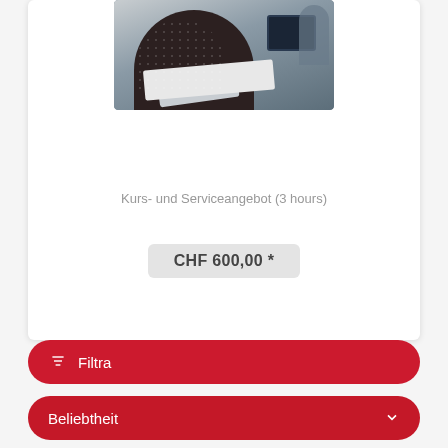[Figure (photo): Person sitting at a desk working with a tablet/iPad, photographed from above at an angle in an office environment]
Kurs- und Serviceangebot (3 hours)
CHF 600,00 *
Filtra
Beliebtheit